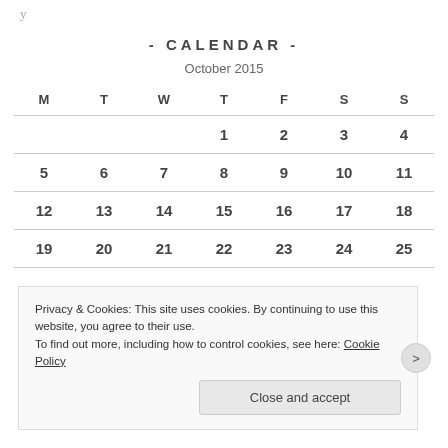- CALENDAR -
October 2015
| M | T | W | T | F | S | S |
| --- | --- | --- | --- | --- | --- | --- |
|  |  |  | 1 | 2 | 3 | 4 |
| 5 | 6 | 7 | 8 | 9 | 10 | 11 |
| 12 | 13 | 14 | 15 | 16 | 17 | 18 |
| 19 | 20 | 21 | 22 | 23 | 24 | 25 |
Privacy & Cookies: This site uses cookies. By continuing to use this website, you agree to their use. To find out more, including how to control cookies, see here: Cookie Policy
Close and accept